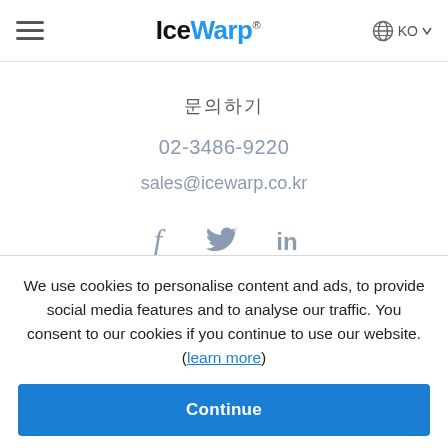IceWarp KO
문의하기
02-3486-9220
sales@icewarp.co.kr
[Figure (illustration): Social media icons: Facebook (f), Twitter (bird), LinkedIn (in)]
We use cookies to personalise content and ads, to provide social media features and to analyse our traffic. You consent to our cookies if you continue to use our website. (learn more)
Continue